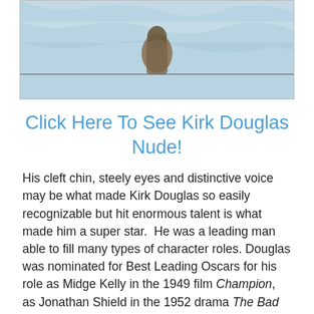[Figure (photo): Partial photo of a person (Kirk Douglas) in water or icy environment, cropped to show upper body/head area]
Click Here To See Kirk Douglas Nude!
His cleft chin, steely eyes and distinctive voice may be what made Kirk Douglas so easily recognizable but hit enormous talent is what made him a super star.  He was a leading man able to fill many types of character roles. Douglas was nominated for Best Leading Oscars for his role as Midge Kelly in the 1949 film Champion, as Jonathan Shield in the 1952 drama The Bad and the Beautiful, and, in 1956 as Vincent Van Gogh in Lust for Life.  In 1996 Kirk Douglas